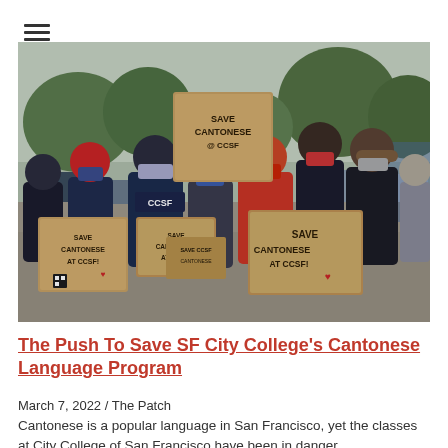[Figure (photo): Group of protesters wearing face masks holding cardboard signs that read 'SAVE CANTONESE AT CCSF!' in a parking lot with trees in the background. One sign reads 'SAVE CANTONESE @ CCSF'. Protesters wear CCSF hoodies and masks.]
The Push To Save SF City College's Cantonese Language Program
March 7, 2022 / The Patch
Cantonese is a popular language in San Francisco, yet the classes at City College of San Francisco have been in danger